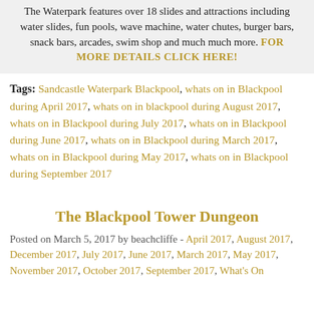The Waterpark features over 18 slides and attractions including water slides, fun pools, wave machine, water chutes, burger bars, snack bars, arcades, swim shop and much much more. FOR MORE DETAILS CLICK HERE!
Tags: Sandcastle Waterpark Blackpool, whats on in Blackpool during April 2017, whats on in blackpool during August 2017, whats on in Blackpool during July 2017, whats on in Blackpool during June 2017, whats on in Blackpool during March 2017, whats on in Blackpool during May 2017, whats on in Blackpool during September 2017
The Blackpool Tower Dungeon
Posted on March 5, 2017 by beachcliffe - April 2017, August 2017, December 2017, July 2017, June 2017, March 2017, May 2017, November 2017, October 2017, September 2017, What's On